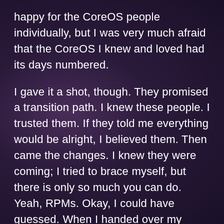happy for the CoreOS people individually, but I was very much afraid that the CoreOS I knew and loved had its days numbered.
I gave it a shot, though. They promised a transition path. I knew these people. I trusted them. If they told me everything would be alright, I believed them. Then came the changes. I knew they were coming; I tried to brace myself, but there is only so much you can do. Yeah, RPMs. Okay, I could have guessed. When I handed over my Ceph containerization to RedHat, that was one of the first things to come on the scene: RPMs.